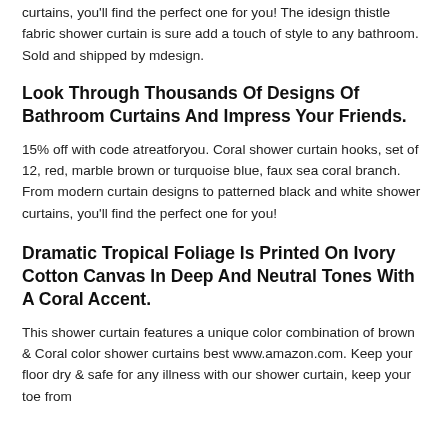curtains, you'll find the perfect one for you! The idesign thistle fabric shower curtain is sure add a touch of style to any bathroom. Sold and shipped by mdesign.
Look Through Thousands Of Designs Of Bathroom Curtains And Impress Your Friends.
15% off with code atreatforyou. Coral shower curtain hooks, set of 12, red, marble brown or turquoise blue, faux sea coral branch. From modern curtain designs to patterned black and white shower curtains, you'll find the perfect one for you!
Dramatic Tropical Foliage Is Printed On Ivory Cotton Canvas In Deep And Neutral Tones With A Coral Accent.
This shower curtain features a unique color combination of brown & Coral color shower curtains best www.amazon.com. Keep your floor dry & safe for any illness with our shower curtain, keep your toe from ...